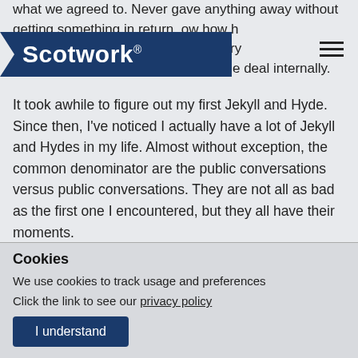Scotwork
what we agreed to. Never gave anything away without getting something in return. [know how he g... as very important for him to be able to sell the deal internally.
It took awhile to figure out my first Jekyll and Hyde. Since then, I've noticed I actually have a lot of Jekyll and Hydes in my life. Almost without exception, the common denominator are the public conversations versus public conversations. They are not all as bad as the first one I encountered, but they all have their moments.
Cookies
We use cookies to track usage and preferences
Click the link to see our privacy policy
I understand